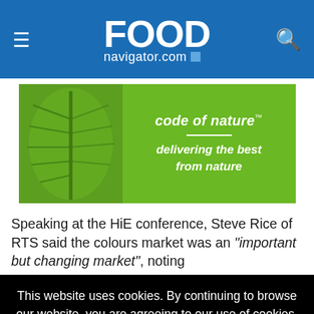FOOD navigator.com
[Figure (illustration): Advertisement image showing a close-up of a green leaf on the left and green background with text 'code of nature™' and 'delivering the best from nature' on the right]
Speaking at the HiE conference, Steve Rice of RTS said the colours market was an "important but changing market", noting
This website uses cookies. By continuing to browse our website, you are agreeing to our use of cookies. You can learn more about cookies by visiting our privacy & cookies policy page.